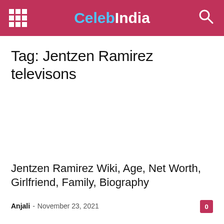CelebIndia
Tag: Jentzen Ramirez televisons
Jentzen Ramirez Wiki, Age, Net Worth, Girlfriend, Family, Biography
Anjali - November 23, 2021